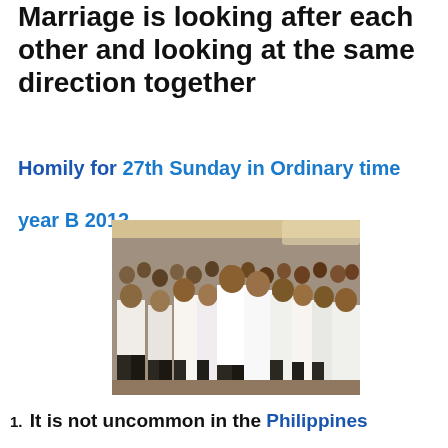Marriage is looking after each other and looking at the same direction together
Homily for 27th Sunday in Ordinary time year B 2012
[Figure (photo): A large group of couples dressed in white clothing at what appears to be a mass wedding ceremony in the Philippines, kissing and embracing each other in a crowded indoor venue.]
1. It is not uncommon in the Philippines